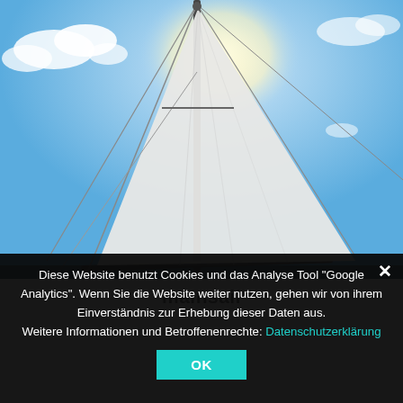[Figure (photo): Photograph of a white sailboat mainsail against a bright blue sky with clouds, shot from below looking up along the mast.]
mainsail
Diese Website benutzt Cookies und das Analyse Tool "Google Analytics". Wenn Sie die Website weiter nutzen, gehen wir von ihrem Einverständnis zur Erhebung dieser Daten aus.
Weitere Informationen und Betroffenenrechte: Datenschutzerklärung
OK